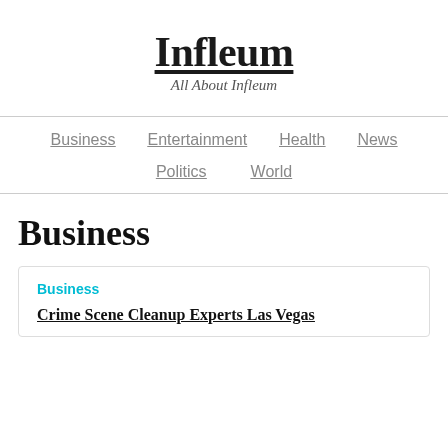Infleum
All About Infleum
Business | Entertainment | Health | News | Politics | World
Business
Business
Crime Scene Cleanup Experts Las Vegas